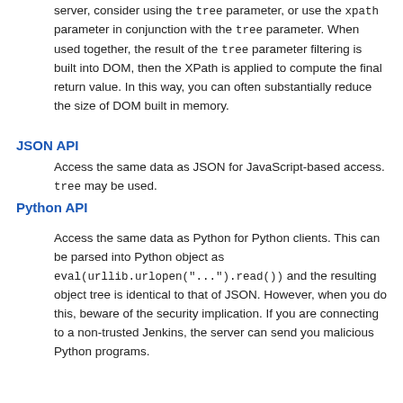server, consider using the tree parameter, or use the xpath parameter in conjunction with the tree parameter. When used together, the result of the tree parameter filtering is built into DOM, then the XPath is applied to compute the final return value. In this way, you can often substantially reduce the size of DOM built in memory.
JSON API
Access the same data as JSON for JavaScript-based access. tree may be used.
Python API
Access the same data as Python for Python clients. This can be parsed into Python object as eval(urllib.urlopen("...").read()) and the resulting object tree is identical to that of JSON. However, when you do this, beware of the security implication. If you are connecting to a non-trusted Jenkins, the server can send you malicious Python programs.